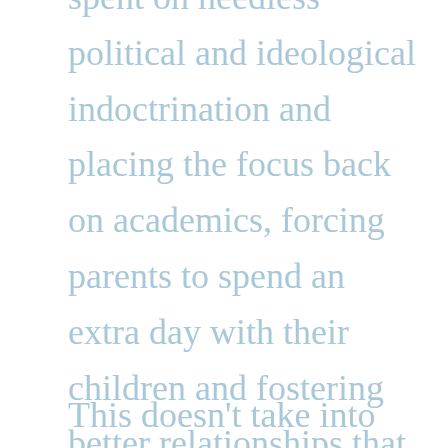undoubtedly eliminating the time spent on needless political and ideological indoctrination and placing the focus back on academics, forcing parents to spend an extra day with their children and fostering better relationships that, of course, result in happier, brighter, more receptive children.
This doesn't take into account the